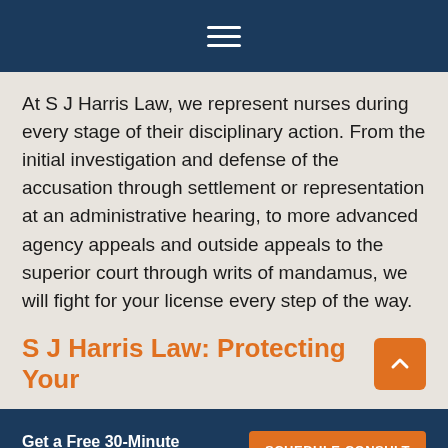Navigation menu (hamburger icon)
At S J Harris Law, we represent nurses during every stage of their disciplinary action. From the initial investigation and defense of the accusation through settlement or representation at an administrative hearing, to more advanced agency appeals and outside appeals to the superior court through writs of mandamus, we will fight for your license every step of the way.
S J Harris Law: Protecting Your
Get a Free 30-Minute Consultation
SCHEDULE CONSULT